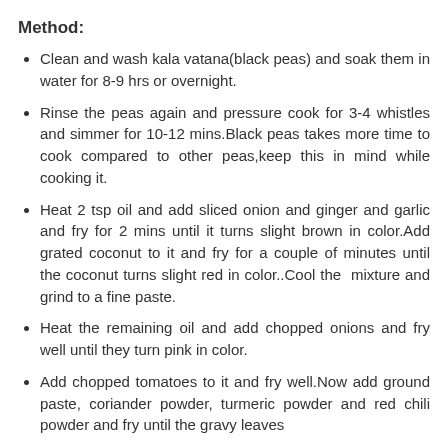Method:
Clean and wash kala vatana(black peas) and soak them in water for 8-9 hrs or overnight.
Rinse the peas again and pressure cook for 3-4 whistles and simmer for 10-12 mins.Black peas takes more time to cook compared to other peas,keep this in mind while cooking it.
Heat 2 tsp oil and add sliced onion and ginger and garlic and fry for 2 mins until it turns slight brown in color.Add grated coconut to it and fry for a couple of minutes until the coconut turns slight red in color..Cool the  mixture and grind to a fine paste.
Heat the remaining oil and add chopped onions and fry well until they turn pink in color.
Add chopped tomatoes to it and fry well.Now add ground paste, coriander powder, turmeric powder and red chili powder and fry until the gravy leaves